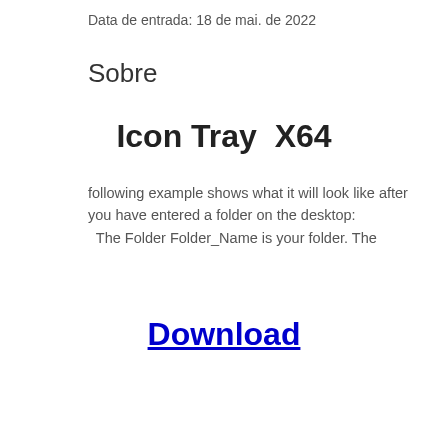Data de entrada: 18 de mai. de 2022
Sobre
Icon Tray  X64
following example shows what it will look like after you have entered a folder on the desktop:
  The Folder Folder_Name is your folder. The
Download